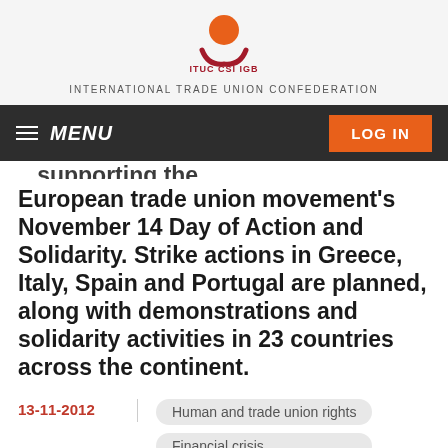[Figure (logo): ITUC CSI IGB logo — orange circle above a red curved swoosh shape, with text ITUC CSI IGB below]
INTERNATIONAL TRADE UNION CONFEDERATION
MENU
LOG IN
European trade union movement's November 14 Day of Action and Solidarity. Strike actions in Greece, Italy, Spain and Portugal are planned, along with demonstrations and solidarity activities in 23 countries across the continent.
13-11-2012
Human and trade union rights
Financial crisis